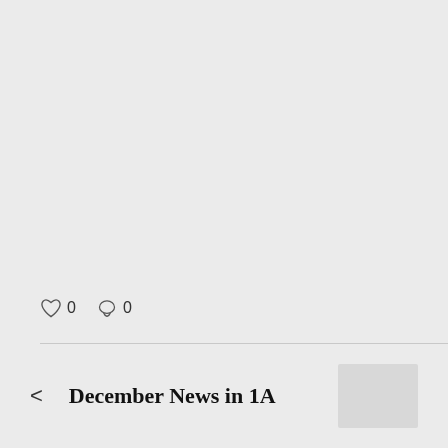[Figure (screenshot): Large empty gray area representing a blank content/image area in a web or app interface]
0  0
< December News in 1A